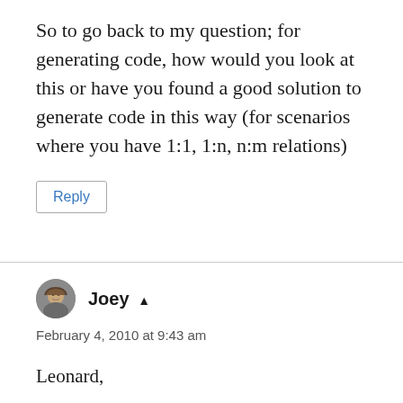So to go back to my question; for generating code, how would you look at this or have you found a good solution to generate code in this way (for scenarios where you have 1:1, 1:n, n:m relations)
Reply
Joey
February 4, 2010 at 9:43 am
Leonard,
I understand your question now, thanks for clearing that up. To best honest, I haven't